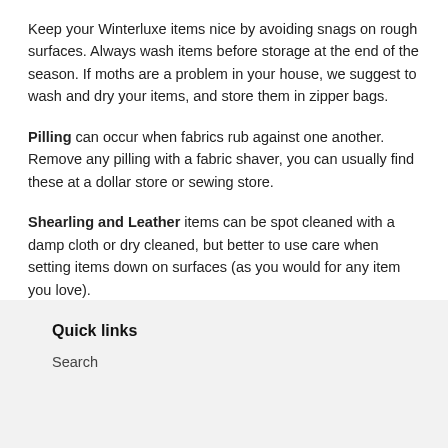Keep your Winterluxe items nice by avoiding snags on rough surfaces. Always wash items before storage at the end of the season. If moths are a problem in your house, we suggest to wash and dry your items, and store them in zipper bags.
Pilling can occur when fabrics rub against one another. Remove any pilling with a fabric shaver, you can usually find these at a dollar store or sewing store.
Shearling and Leather items can be spot cleaned with a damp cloth or dry cleaned, but better to use care when setting items down on surfaces (as you would for any item you love).
Quick links
Search